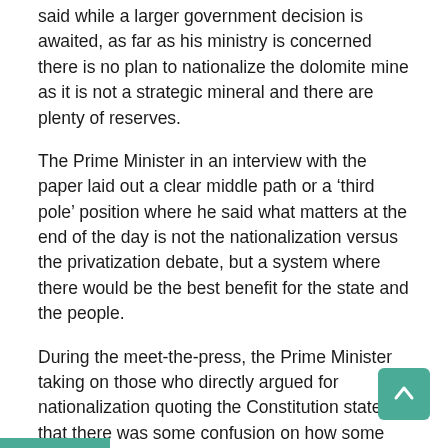The MRE Minister in a previous interview to the paper had said while a larger government decision is awaited, as far as his ministry is concerned there is no plan to nationalize the dolomite mine as it is not a strategic mineral and there are plenty of reserves.
The Prime Minister in an interview with the paper laid out a clear middle path or a ‘third pole’ position where he said what matters at the end of the day is not the nationalization versus the privatization debate, but a system where there would be the best benefit for the state and the people.
During the meet-the-press, the Prime Minister taking on those who directly argued for nationalization quoting the Constitution stated that there was some confusion on how some quoted the Constitution to suit their arguments.
The PM said some quoted the Constitution Article 1 section 12 as, ‘The right over mineral resources…. shall vest in the state and are the property of the State and so it belongs to the State -and therefore it must be nationalized,’ which the PM clarified